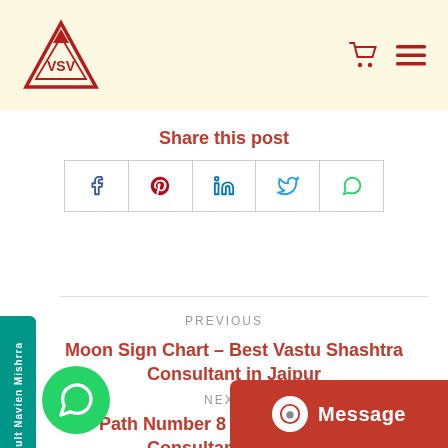[Figure (logo): VastuSarwasV logo — red triangle with VSV text inside, 'VastuSarwasV' text below]
Share this post
[Figure (infographic): Five social share buttons: Facebook (f), Pinterest (p), LinkedIn (in), Twitter bird, WhatsApp]
PREVIOUS
Moon Sign Chart – Best Vastu Shashtra Consultant in Jaipur
NEXT
Life Path Number 8 – Best Numerologist Consultant in Jaipur
Consult Navien Mishrra
[Figure (infographic): Message chat bubble button overlay at bottom right]
Message